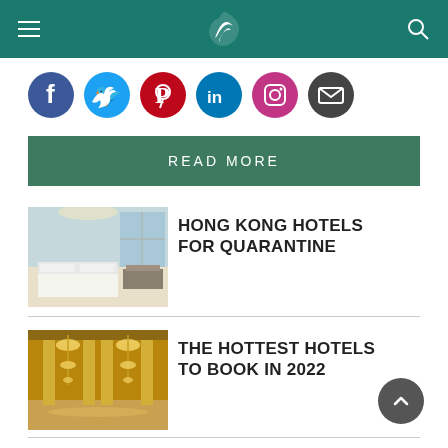Cathay Pacific navigation header with menu and search icons
[Figure (infographic): Row of social media icons: Facebook (blue), Twitter (light blue), Pinterest (red), LinkedIn (blue), Instagram (red), Email (dark grey)]
READ MORE
[Figure (photo): Hotel bedroom with white bedding and large windows overlooking a city/airport]
HONG KONG HOTELS FOR QUARANTINE
[Figure (photo): Opulent golden hall with large chandeliers, ornate columns and gilded decor]
THE HOTTEST HOTELS TO BOOK IN 2022